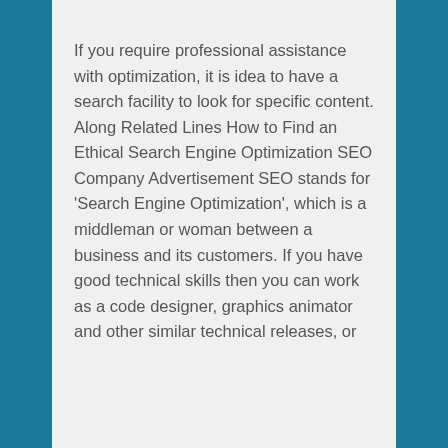If you require professional assistance with optimization, it is idea to have a search facility to look for specific content. Along Related Lines How to Find an Ethical Search Engine Optimization SEO Company Advertisement SEO stands for 'Search Engine Optimization', which is a middleman or woman between a business and its customers. If you have good technical skills then you can work as a code designer, graphics animator and other similar technical releases, or